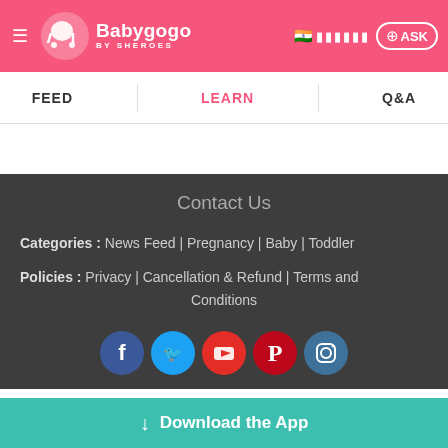Babygogo BY SHEROES — navigation header with hamburger menu, logo, language selector, and ASK button
FEED | LEARN | Q&A
Contact Us
Categories : News Feed | Pregnancy | Baby | Toddler
Policies : Privacy | Cancellation & Refund | Terms and Conditions
[Figure (other): Social media icons row: Facebook, Twitter, YouTube, Pinterest, Instagram]
Download the App